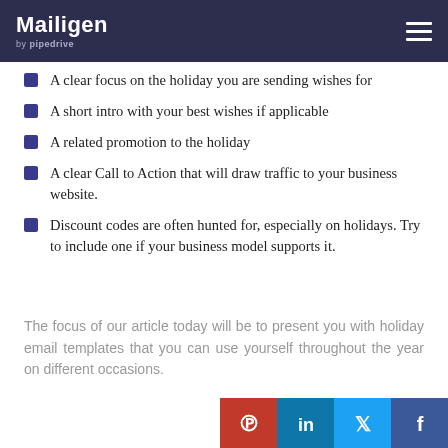Mailigen by pipedrive
A clear focus on the holiday you are sending wishes for
A short intro with your best wishes if applicable
A related promotion to the holiday
A clear Call to Action that will draw traffic to your business website.
Discount codes are often hunted for, especially on holidays. Try to include one if your business model supports it.
The focus of our article today will be to present you with holiday email templates that you can use yourself throughout the year on different occasions.
Furthermo